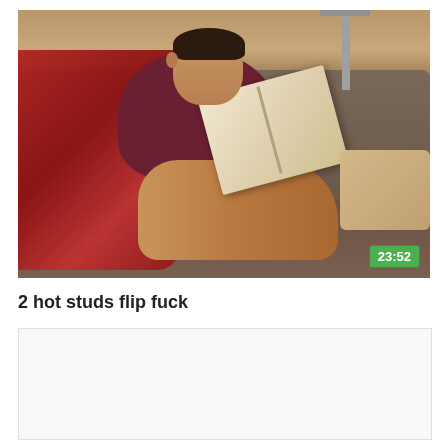[Figure (photo): Video thumbnail showing a man reclining on a sofa reading a book, with a red blanket, duration badge showing 23:52 in green]
2 hot studs flip fuck